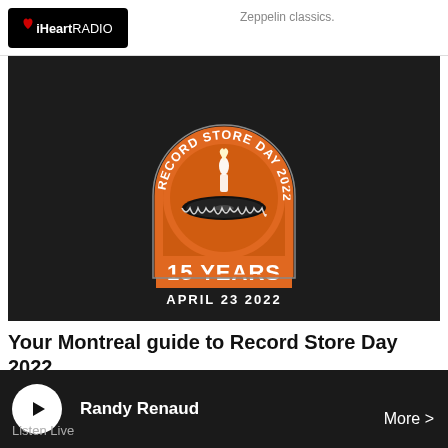iHeartRADIO
Zeppelin classics.
[Figure (logo): Record Store Day 2022 logo — orange arch badge with candle on a vinyl record, '15 YEARS' in orange text, 'APRIL 23 2022' below, on a dark textured background]
Your Montreal guide to Record Store Day 2022
The 2022 edition of Record Store Day is scheduled for April 23...
Randy Renaud
Listen Live
More >